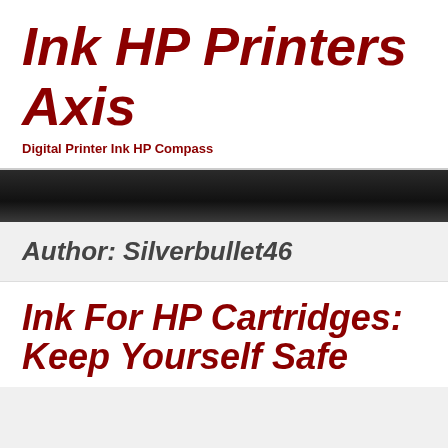Ink HP Printers
Axis
Digital Printer Ink HP Compass
Author: Silverbullet46
Ink For HP Cartridges: Keep Yourself Safe